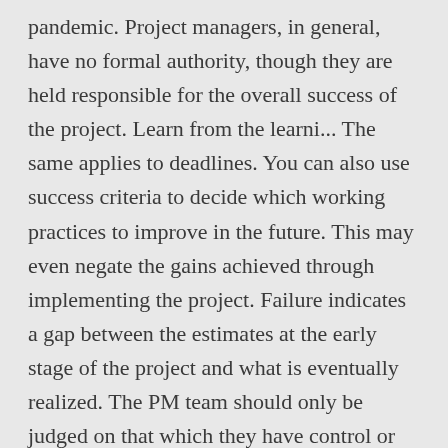pandemic. Project managers, in general, have no formal authority, though they are held responsible for the overall success of the project. Learn from the learni... The same applies to deadlines. You can also use success criteria to decide which working practices to improve in the future. This may even negate the gains achieved through implementing the project. Failure indicates a gap between the estimates at the early stage of the project and what is eventually realized. The PM team should only be judged on that which they have control or influence over. Project management has never been the kind of discipline that had a simple-to-define, simple-to-achieve definition of success. Save my name, email, and website in